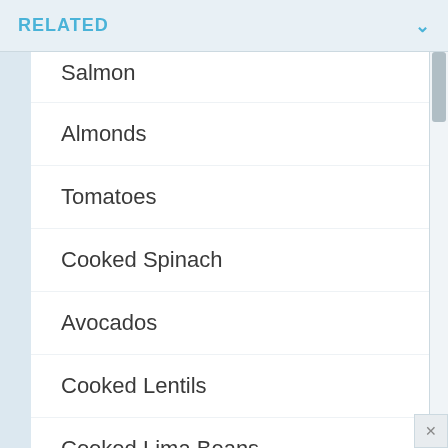RELATED
Salmon
Almonds
Tomatoes
Cooked Spinach
Avocados
Cooked Lentils
Cooked Lima Beans
Cooked Broccoli